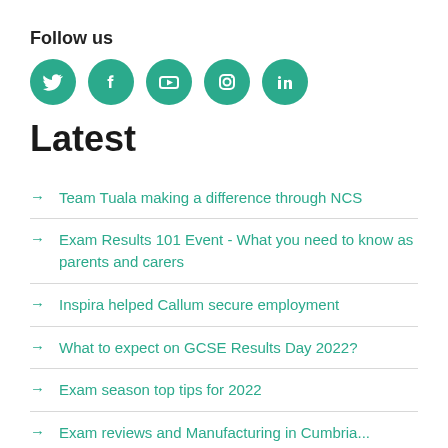Follow us
[Figure (infographic): Five social media icons (Twitter, Facebook, YouTube, Instagram, LinkedIn) as white icons on teal/green circular backgrounds]
Latest
Team Tuala making a difference through NCS
Exam Results 101 Event - What you need to know as parents and carers
Inspira helped Callum secure employment
What to expect on GCSE Results Day 2022?
Exam season top tips for 2022
Exam reviews and Manufacturing in Cumbria...